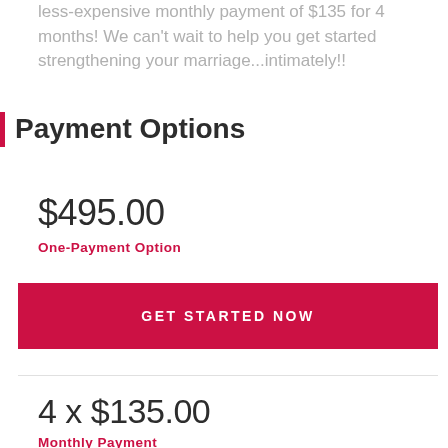less-expensive monthly payment of $135 for 4 months! We can't wait to help you get started strengthening your marriage...intimately!!
Payment Options
$495.00
One-Payment Option
GET STARTED NOW
4 x $135.00
Monthly Payment